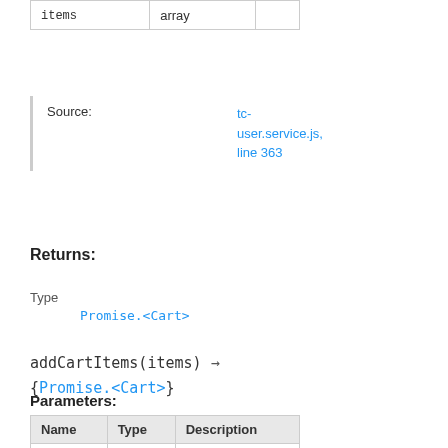| Name | Type | Description |
| --- | --- | --- |
| items | array |  |
Source: tc-user.service.js, line 363
Returns:
Type
Promise.<Cart>
addCartItems(items) → {Promise.<Cart>}
Parameters:
| Name | Type | Description |
| --- | --- | --- |
| items | array |  |